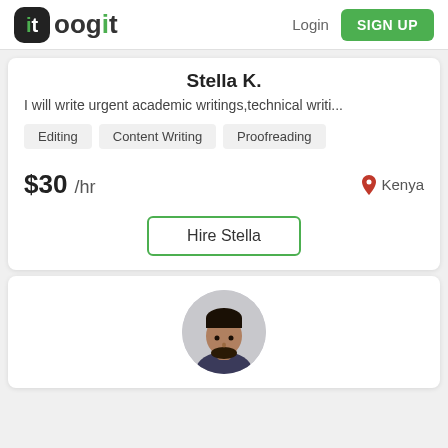toogit — Login | SIGN UP
Stella K.
I will write urgent academic writings,technical writi...
Editing
Content Writing
Proofreading
$30 /hr
Kenya
Hire Stella
[Figure (photo): Profile photo of a man, circular crop, bottom portion of a second freelancer card]